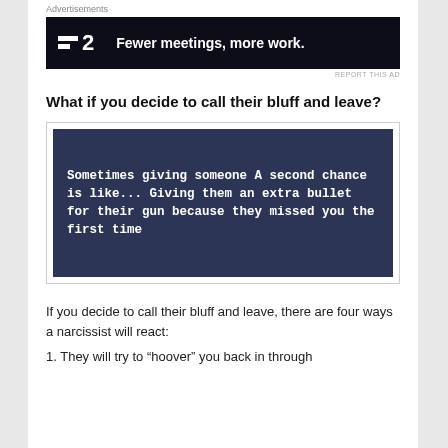Advertisements
[Figure (other): Advertisement banner for F2 project management app: dark background with logo consisting of two white bars and the number 2, followed by bold white text 'Fewer meetings, more work.']
REPORT THIS AD
What if you decide to call their bluff and leave?
[Figure (illustration): Dark navy blue image with bold white text quote: 'Sometimes giving someone A second chance is like... Giving them an extra bullet for their gun because they missed you the first time']
If you decide to call their bluff and leave, there are four ways a narcissist will react:
1. They will try to “hoover” you back in through